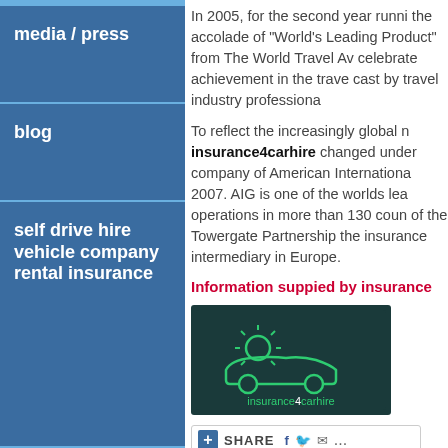In 2005, for the second year running, the accolade of "World's Leading Travel Product" from The World Travel Awards celebrate achievement in the travel industry cast by travel industry professionals.
To reflect the increasingly global nature insurance4carhire changed underwriting company of American International Group in 2007. AIG is one of the worlds leading operations in more than 130 countries. As part of the Towergate Partnership the leading insurance intermediary in Europe.
Information suppied by insurance4carhire
media / press
blog
self drive hire vehicle company rental insurance
[Figure (logo): insurance4carhire logo — dark teal background with car icon and sun rays, text 'insurance4carhire']
[Figure (other): Share bar with plus icon, SHARE text, Facebook, Twitter, email icons]
See also
insurance4carhire presents Vicki But...